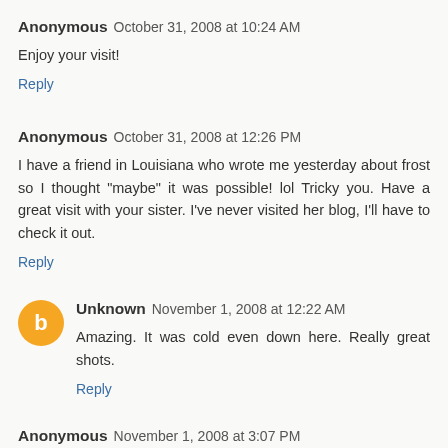Anonymous  October 31, 2008 at 10:24 AM
Enjoy your visit!
Reply
Anonymous  October 31, 2008 at 12:26 PM
I have a friend in Louisiana who wrote me yesterday about frost so I thought "maybe" it was possible! lol Tricky you. Have a great visit with your sister. I've never visited her blog, I'll have to check it out.
Reply
Unknown  November 1, 2008 at 12:22 AM
Amazing. It was cold even down here. Really great shots.
Reply
Anonymous  November 1, 2008 at 3:07 PM